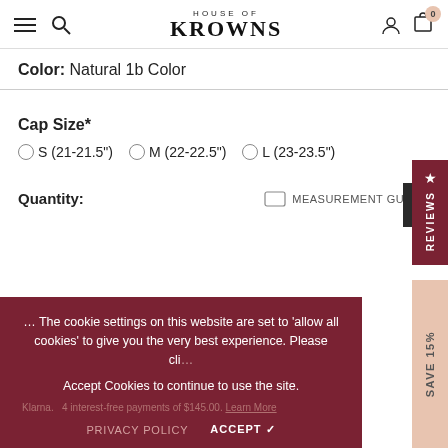HOUSE OF KROWNS — navigation header with hamburger, search, logo, account, cart (0)
Color: Natural 1b Color
Cap Size*
○ S (21-21.5")  ○ M (22-22.5")  ○ L (23-23.5")
Quantity:  MEASUREMENT GUIDE
The cookie settings on this website are set to 'allow all cookies' to give you the very best experience. Please click Accept Cookies to continue to use the site.
PRIVACY POLICY  ACCEPT ✓
Klarna.  4 interest-free payments of $145.00. Learn More
Subtotal: $580.00